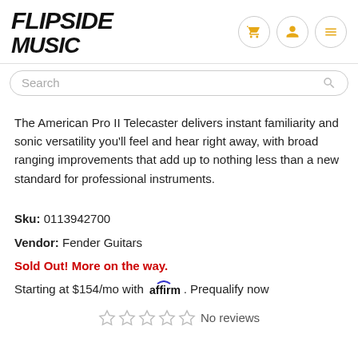FLIPSIDE MUSIC
The American Pro II Telecaster delivers instant familiarity and sonic versatility you'll feel and hear right away, with broad ranging improvements that add up to nothing less than a new standard for professional instruments.
Sku: 0113942700
Vendor: Fender Guitars
Sold Out! More on the way.
Starting at $154/mo with affirm. Prequalify now
No reviews